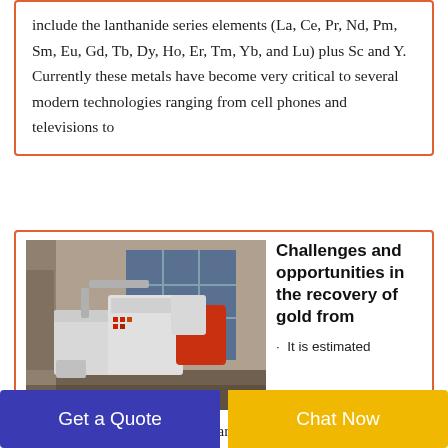include the lanthanide series elements (La, Ce, Pr, Nd, Pm, Sm, Eu, Gd, Tb, Dy, Ho, Er, Tm, Yb, and Lu) plus Sc and Y. Currently these metals have become very critical to several modern technologies ranging from cell phones and televisions to
[Figure (photo): Industrial recycling/processing machinery in a factory warehouse setting]
Challenges and opportunities in the recovery of gold from
· It is estimated that cyanide leaching is used in around 90% of gold production from primary ores 51 and a similar sto...